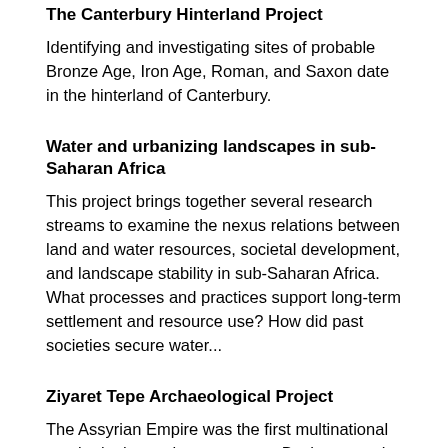The Canterbury Hinterland Project
Identifying and investigating sites of probable Bronze Age, Iron Age, Roman, and Saxon date in the hinterland of Canterbury.
Water and urbanizing landscapes in sub-Saharan Africa
This project brings together several research streams to examine the nexus relations between land and water resources, societal development, and landscape stability in sub-Saharan Africa. What processes and practices support long-term settlement and resource use? How did past societies secure water...
Ziyaret Tepe Archaeological Project
The Assyrian Empire was the first multinational empire in the ancient near east. By the seventh century BC it had grown to cover all of Iraq, Syria and the Levant, substantial portions of western Iran and south-eastern Turkey and even, for brief periods, Egypt. In the site of